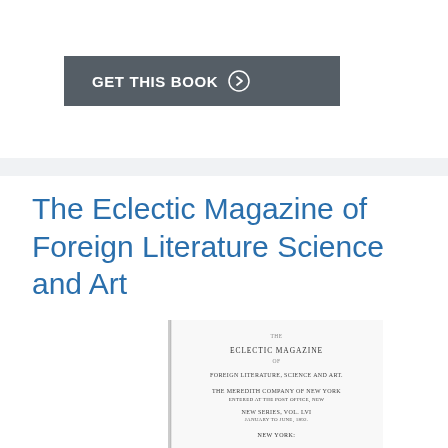[Figure (other): Dark grey button labeled GET THIS BOOK with a right-arrow circle icon]
The Eclectic Magazine of Foreign Literature Science and Art
[Figure (photo): Scanned title page of The Eclectic Magazine of Foreign Literature, Science and Art, showing text lines including the magazine title, subtitle, series and volume info, and NEW YORK imprint at bottom]